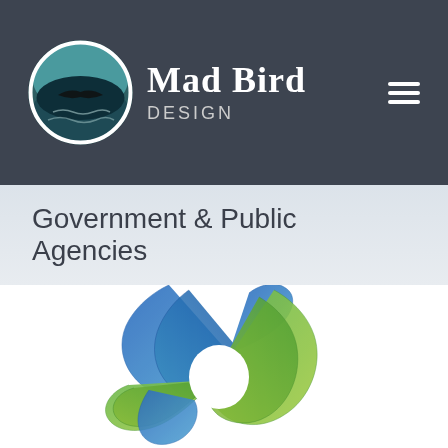Mad Bird Design
Government & Public Agencies
[Figure (logo): Intertwined blue and green ribbon loops forming a circular knot-like logo mark, partially visible at bottom of page]